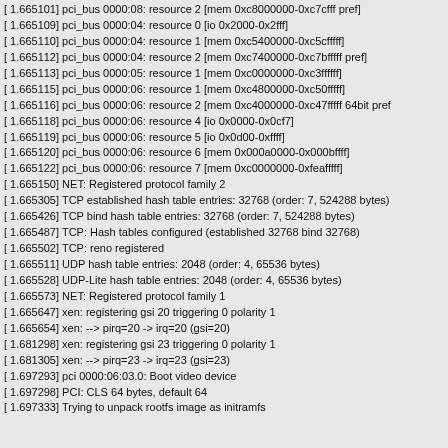[  1.665101] pci_bus 0000:08: resource 2 [mem 0xc8000000-0xc7cfff pref]
[  1.665109] pci_bus 0000:04: resource 0 [io  0x2000-0x2fff]
[  1.665110] pci_bus 0000:04: resource 1 [mem 0xc5400000-0xc5cfffff]
[  1.665112] pci_bus 0000:04: resource 2 [mem 0xc7400000-0xc7bfffff pref]
[  1.665113] pci_bus 0000:05: resource 1 [mem 0xc0000000-0xc3ffffff]
[  1.665115] pci_bus 0000:06: resource 1 [mem 0xc4800000-0xc50fffff]
[  1.665116] pci_bus 0000:06: resource 2 [mem 0xc4000000-0xc47fffff 64bit pref
[  1.665118] pci_bus 0000:06: resource 4 [io  0x0000-0x0cf7]
[  1.665119] pci_bus 0000:06: resource 5 [io  0x0d00-0xffff]
[  1.665120] pci_bus 0000:06: resource 6 [mem 0x000a0000-0x000bffff]
[  1.665122] pci_bus 0000:06: resource 7 [mem 0xc0000000-0xfeafffff]
[  1.665150] NET: Registered protocol family 2
[  1.665305] TCP established hash table entries: 32768 (order: 7, 524288 bytes)
[  1.665426] TCP bind hash table entries: 32768 (order: 7, 524288 bytes)
[  1.665487] TCP: Hash tables configured (established 32768 bind 32768)
[  1.665502] TCP: reno registered
[  1.665511] UDP hash table entries: 2048 (order: 4, 65536 bytes)
[  1.665528] UDP-Lite hash table entries: 2048 (order: 4, 65536 bytes)
[  1.665573] NET: Registered protocol family 1
[  1.665647] xen: registering gsi 20 triggering 0 polarity 1
[  1.665654] xen: --> pirq=20 -> irq=20 (gsi=20)
[  1.681298] xen: registering gsi 23 triggering 0 polarity 1
[  1.681305] xen: --> pirq=23 -> irq=23 (gsi=23)
[  1.697293] pci 0000:06:03.0: Boot video device
[  1.697298] PCI: CLS 64 bytes, default 64
[  1.697333] Trying to unpack rootfs image as initramfs